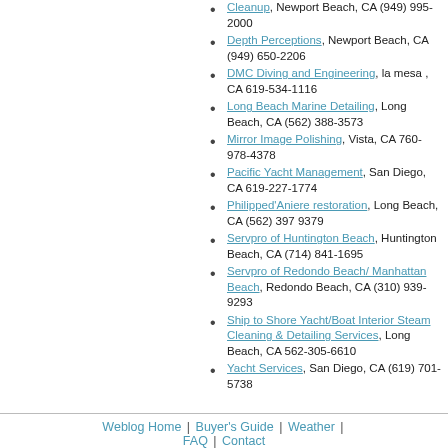Cleanup, Newport Beach, CA (949) 995-2000
Depth Perceptions, Newport Beach, CA (949) 650-2206
DMC Diving and Engineering, la mesa , CA 619-534-1116
Long Beach Marine Detailing, Long Beach, CA (562) 388-3573
Mirror Image Polishing, Vista, CA 760-978-4378
Pacific Yacht Management, San Diego, CA 619-227-1774
Philipped'Aniere restoration, Long Beach, CA (562) 397 9379
Servpro of Huntington Beach, Huntington Beach, CA (714) 841-1695
Servpro of Redondo Beach/ Manhattan Beach, Redondo Beach, CA (310) 939-9293
Ship to Shore Yacht/Boat Interior Steam Cleaning & Detailing Services, Long Beach, CA 562-305-6610
Yacht Services, San Diego, CA (619) 701-5738
Weblog Home | Buyer's Guide | Weather | FAQ | Contact